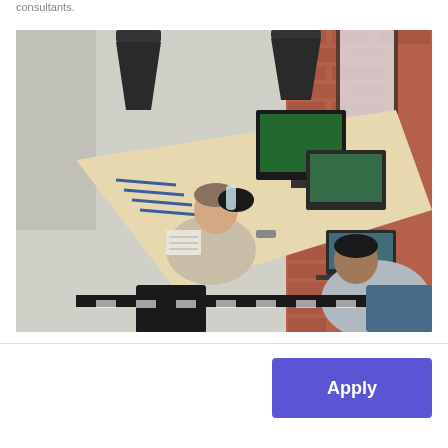consultants.
[Figure (photo): Overhead view of two men working at a shared desk in an office with exposed brick walls and pendant lamps. One man is seated writing while looking at a large monitor; the other is seated using a laptop. The desk has various items including notebooks, cables, and a tablet.]
Apply